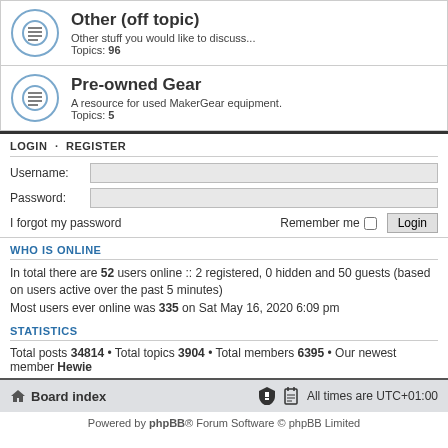[Figure (infographic): Forum category row: Other (off topic) with icon, description 'Other stuff you would like to discuss...', Topics: 96]
[Figure (infographic): Forum category row: Pre-owned Gear with icon, description 'A resource for used MakerGear equipment.', Topics: 5]
LOGIN • REGISTER
Username:
Password:
I forgot my password
Remember me  Login
WHO IS ONLINE
In total there are 52 users online :: 2 registered, 0 hidden and 50 guests (based on users active over the past 5 minutes)
Most users ever online was 335 on Sat May 16, 2020 6:09 pm
STATISTICS
Total posts 34814 • Total topics 3904 • Total members 6395 • Our newest member Hewie
Board index   All times are UTC+01:00
Powered by phpBB® Forum Software © phpBB Limited